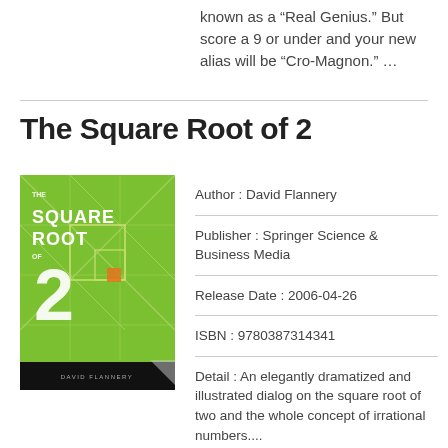known as a “Real Genius.” But score a 9 or under and your new alias will be “Cro-Magnon.” …
The Square Root of 2
[Figure (illustration): Book cover of 'The Square Root of 2' by David Flannery, green background with geometric square root spiral design and large '2' numeral]
Author : David Flannery
Publisher : Springer Science & Business Media
Release Date : 2006-04-26
ISBN : 9780387314341
Detail : An elegantly dramatized and illustrated dialog on the square root of two and the whole concept of irrational numbers....